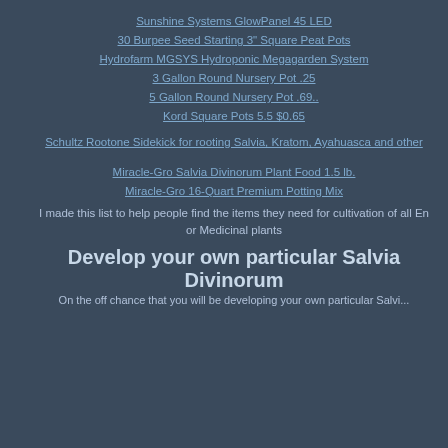Sunshine Systems GlowPanel 45 LED
30 Burpee Seed Starting 3" Square Peat Pots
Hydrofarm MGSYS Hydroponic Megagarden System
3 Gallon Round Nursery Pot .25
5 Gallon Round Nursery Pot .69..
Kord Square Pots 5.5 $0.65
Schultz Rootone Sidekick for rooting Salvia, Kratom, Ayahuasca and other
Miracle-Gro Salvia Divinorum Plant Food 1.5 lb.
Miracle-Gro 16-Quart Premium Potting Mix
I made this list to help people find the items they need for cultivation of all En or Medicinal plants
Develop your own particular Salvia Divinorum
On the off chance that you will be developing your own particular Salvi...